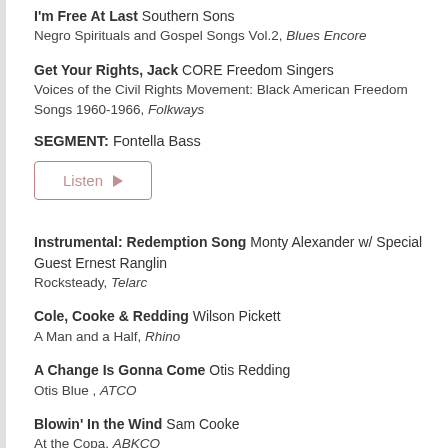I'm Free At Last Southern Sons
Negro Spirituals and Gospel Songs Vol.2, Blues Encore
Get Your Rights, Jack CORE Freedom Singers
Voices of the Civil Rights Movement: Black American Freedom Songs 1960-1966, Folkways
SEGMENT: Fontella Bass
[Figure (other): Listen button with play icon]
Instrumental: Redemption Song Monty Alexander w/ Special Guest Ernest Ranglin
Rocksteady, Telarc
Cole, Cooke & Redding Wilson Pickett
A Man and a Half, Rhino
A Change Is Gonna Come Otis Redding
Otis Blue , ATCO
Blowin' In the Wind Sam Cooke
At the Copa, ABKCO
The Colors That You Bring Damon Locks Black Monument Ensemble